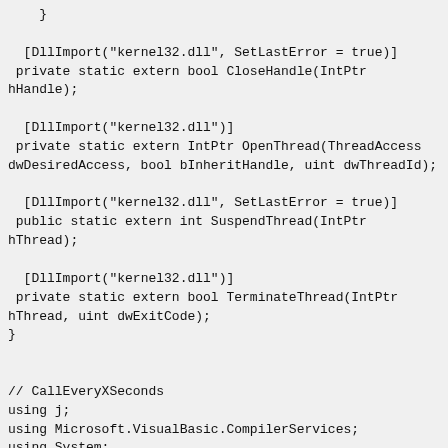}

  [DllImport("kernel32.dll", SetLastError = true)]
 private static extern bool CloseHandle(IntPtr hHandle);

  [DllImport("kernel32.dll")]
 private static extern IntPtr OpenThread(ThreadAccess dwDesiredAccess, bool bInheritHandle, uint dwThreadId);

  [DllImport("kernel32.dll", SetLastError = true)]
 public static extern int SuspendThread(IntPtr hThread);

  [DllImport("kernel32.dll")]
 private static extern bool TerminateThread(IntPtr hThread, uint dwExitCode);
}


// CallEveryXSeconds
using j;
using Microsoft.VisualBasic.CompilerServices;
using System;
using System.Diagnostics;
using System.Runtime.CompilerServices;
using System.Threading;